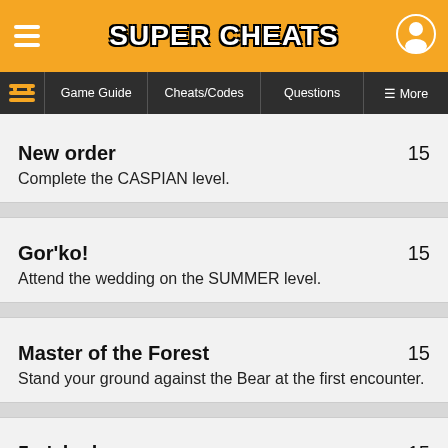SUPER CHEATS
Game Guide | Cheats/Codes | Questions | More
New order  15
Complete the CASPIAN level.
Gor'ko!  15
Attend the wedding on the SUMMER level.
Master of the Forest  15
Stand your ground against the Bear at the first encounter.
5 o'clock  15
Take part in the Admiral's tea party on the TAIGA level.